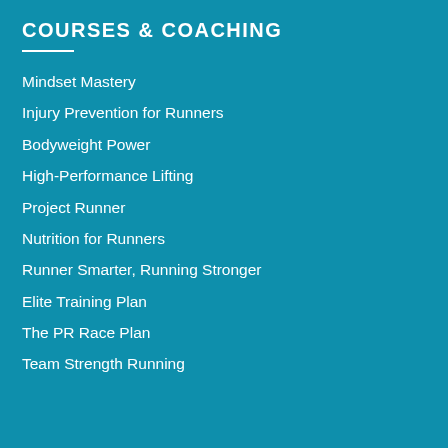COURSES & COACHING
Mindset Mastery
Injury Prevention for Runners
Bodyweight Power
High-Performance Lifting
Project Runner
Nutrition for Runners
Runner Smarter, Running Stronger
Elite Training Plan
The PR Race Plan
Team Strength Running